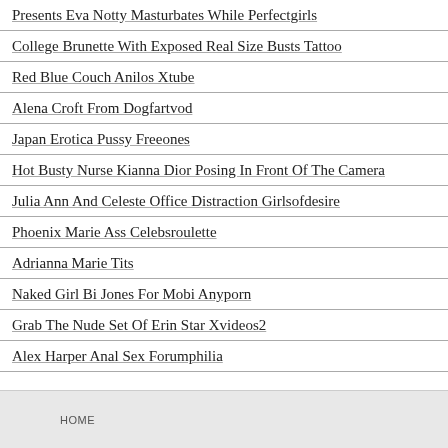Presents Eva Notty Masturbates While Perfectgirls
College Brunette With Exposed Real Size Busts Tattoo
Red Blue Couch Anilos Xtube
Alena Croft From Dogfartvod
Japan Erotica Pussy Freeones
Hot Busty Nurse Kianna Dior Posing In Front Of The Camera
Julia Ann And Celeste Office Distraction Girlsofdesire
Phoenix Marie Ass Celebsroulette
Adrianna Marie Tits
Naked Girl Bi Jones For Mobi Anyporn
Grab The Nude Set Of Erin Star Xvideos2
Alex Harper Anal Sex Forumphilia
HOME